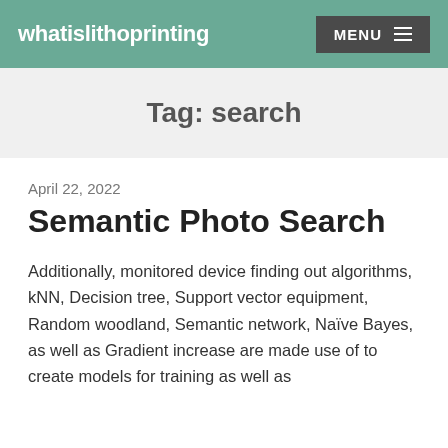whatislithoprinting
Tag: search
April 22, 2022
Semantic Photo Search
Additionally, monitored device finding out algorithms, kNN, Decision tree, Support vector equipment, Random woodland, Semantic network, Naïve Bayes, as well as Gradient increase are made use of to create models for training as well as